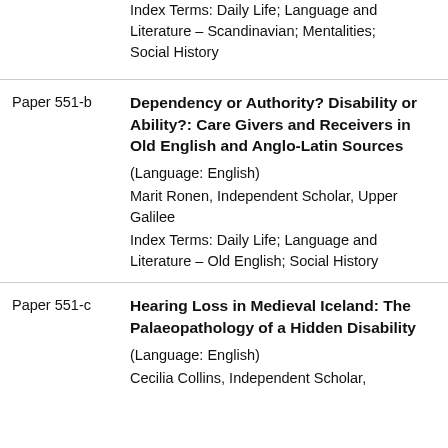Index Terms: Daily Life; Language and Literature – Scandinavian; Mentalities; Social History
Paper 551-b
Dependency or Authority? Disability or Ability?: Care Givers and Receivers in Old English and Anglo-Latin Sources
(Language: English)
Marit Ronen, Independent Scholar, Upper Galilee
Index Terms: Daily Life; Language and Literature – Old English; Social History
Paper 551-c
Hearing Loss in Medieval Iceland: The Palaeopathology of a Hidden Disability
(Language: English)
Cecilia Collins, Independent Scholar,